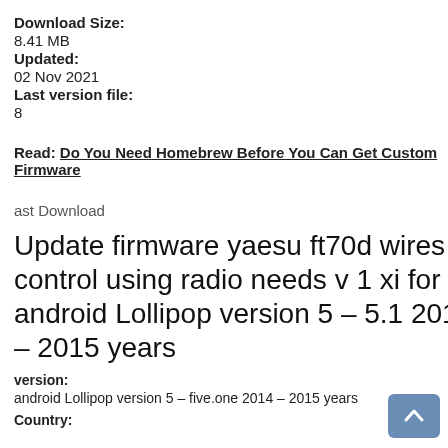Download Size:
8.41 MB
Updated:
02 Nov 2021
Last version file:
8
Read: Do You Need Homebrew Before You Can Get Custom Firmware
ast Download
Update firmware yaesu ft70d wires x control using radio needs v 1 xi for android Lollipop version 5 – 5.1 2014 – 2015 years
version:
android Lollipop version 5 – five.one 2014 – 2015 years
Country: